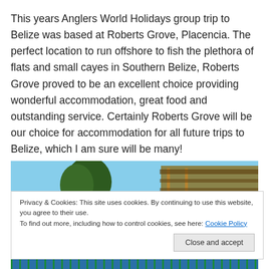This years Anglers World Holidays group trip to Belize was based at Roberts Grove, Placencia. The perfect location to run offshore to fish the plethora of flats and small cayes in Southern Belize, Roberts Grove proved to be an excellent choice providing wonderful accommodation, great food and outstanding service. Certainly Roberts Grove will be our choice for accommodation for all future trips to Belize, which I am sure will be many!
[Figure (photo): Partial outdoor photo showing tropical trees and a building structure with thatched roof elements, partially obscured by a cookie consent banner]
Privacy & Cookies: This site uses cookies. By continuing to use this website, you agree to their use.
To find out more, including how to control cookies, see here: Cookie Policy
[Figure (photo): Bottom strip of another outdoor photo showing tropical scenery with water and vegetation]